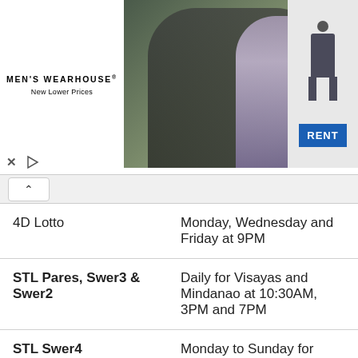[Figure (photo): Men's Wearhouse advertisement banner showing a couple in formal wear and a child in a suit, with a 'RENT' button and the Men's Wearhouse logo with 'New Lower Prices' tagline.]
| 4D Lotto | Monday, Wednesday and Friday at 9PM |
| STL Pares, Swer3 & Swer2 | Daily for Visayas and Mindanao at 10:30AM, 3PM and 7PM |
| STL Swer4 | Monday to Sunday for Mindanao area at 7PM |
Please ensure that you check your numbers at the official PCSO website. BusinessNews.ph cannot be held responsible for any misprints, typos or inaccuracies that lead to any financial loss or failure to claim winnings